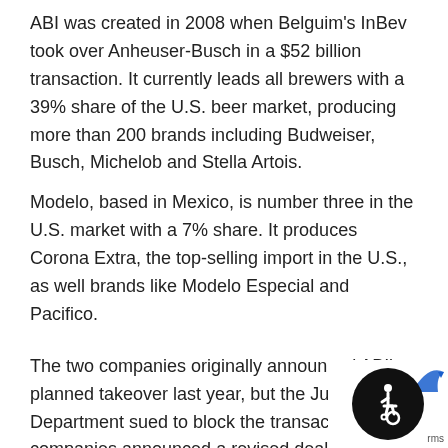ABI was created in 2008 when Belguim's InBev took over Anheuser-Busch in a $52 billion transaction. It currently leads all brewers with a 39% share of the U.S. beer market, producing more than 200 brands including Budweiser, Busch, Michelob and Stella Artois.
Modelo, based in Mexico, is number three in the U.S. market with a 7% share. It produces Corona Extra, the top-selling import in the U.S., as well brands like Modelo Especial and Pacifico.
The two companies originally announced ABI's planned takeover last year, but the Justice Department sued to block the transaction. The companies announced a revised deal in